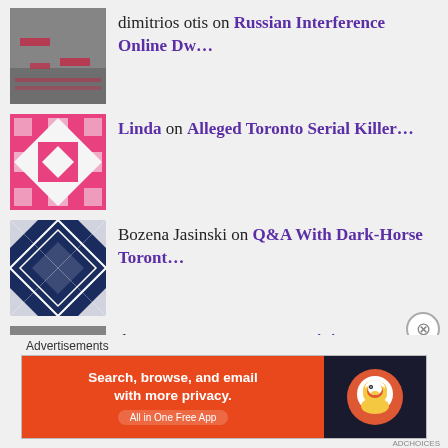dimitrios otis on Russian Interference Online Dw...
Linda on Alleged Toronto Serial Killer...
Bozena Jasinski on Q&A With Dark-Horse Toront...
dimitrios otis on Wynne's Minimum Wage Hik...
Richard on Q&A With Dark-Horse Toront...
Advertisements
[Figure (screenshot): DuckDuckGo advertisement banner: 'Search, browse, and email with more privacy. All in One Free App' with DuckDuckGo logo on dark right panel]